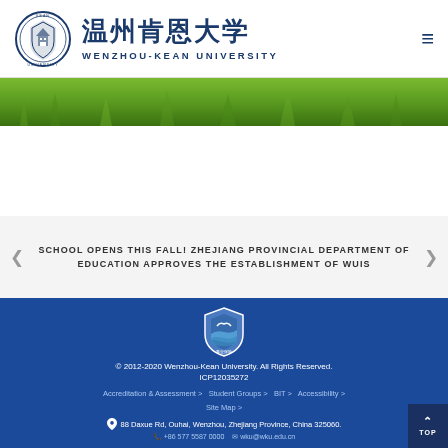温州肯恩大学 WENZHOU-KEAN UNIVERSITY
[Figure (photo): Green grass/nature banner image strip]
SCHOOL OPENS THIS FALL! ZHEJIANG PROVINCIAL DEPARTMENT OF EDUCATION APPROVES THE ESTABLISHMENT OF WUIS
[Figure (logo): Wenzhou-Kean University shield/badge logo in footer]
© 2012-2020 Wenzhou-Kean University. All Rights Reserved.
ICP12035272
Accreditation & Assessment  Student Groups  BIT  Accessibility  Site Map
88 Daxue Rd, Ouhai, Wenzhou, Zhejiang Province, China 325060.
+86 577 5587 0000   wku@wku.edu.cn
TOP